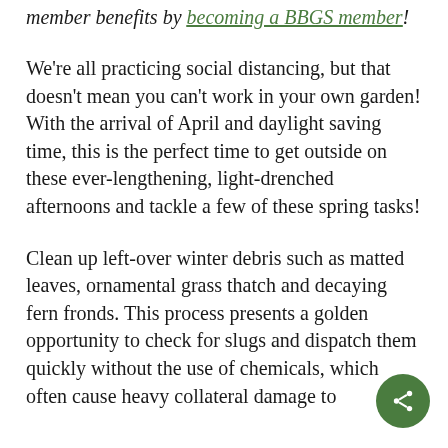member benefits by becoming a BBGS member!
We're all practicing social distancing, but that doesn't mean you can't work in your own garden! With the arrival of April and daylight saving time, this is the perfect time to get outside on these ever-lengthening, light-drenched afternoons and tackle a few of these spring tasks!
Clean up left-over winter debris such as matted leaves, ornamental grass thatch and decaying fern fronds. This process presents a golden opportunity to check for slugs and dispatch them quickly without the use of chemicals, which often cause heavy collateral damage to